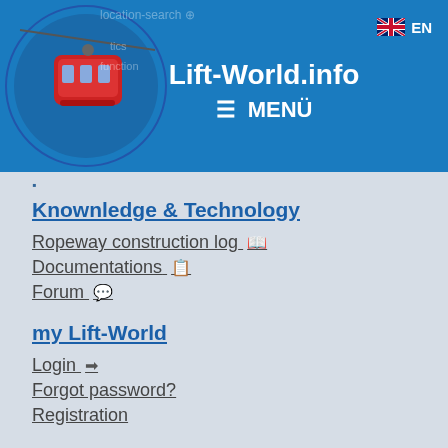Lift-World.info — MENÜ — EN
Knownledge & Technology
Ropeway construction log 📖
Documentations 📋
Forum 💬
my Lift-World
Login ➡
Forgot password?
Registration
Service
Buy a lift 🛒
- New lifts 🛒